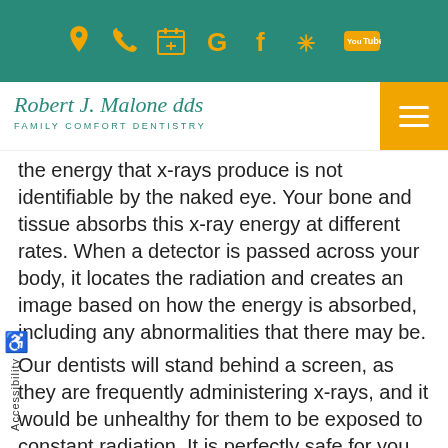[Figure (screenshot): Teal navigation bar with orange icons: location pin, phone, calendar, Google G, Facebook f, Yelp, YouTube]
[Figure (logo): Robert J. Malone dds - Family Comfort Dentistry logo in teal script font, with orange hamburger menu button]
the energy that x-rays produce is not identifiable by the naked eye. Your bone and tissue absorbs this x-ray energy at different rates. When a detector is passed across your body, it locates the radiation and creates an image based on how the energy is absorbed, including any abnormalities that there may be.
Our dentists will stand behind a screen, as they are frequently administering x-rays, and it would be unhealthy for them to be exposed to constant radiation. It is perfectly safe for you to